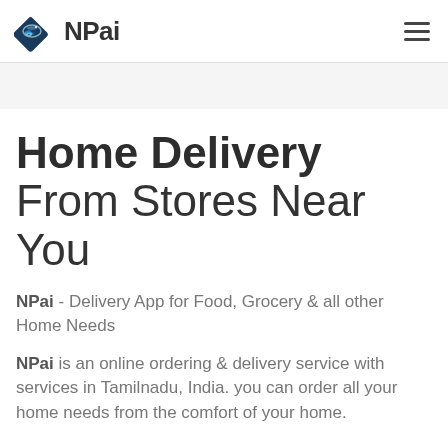NPai
Home Delivery From Stores Near You
NPai - Delivery App for Food, Grocery & all other Home Needs
NPai is an online ordering & delivery service with services in Tamilnadu, India. you can order all your home needs from the comfort of your home.